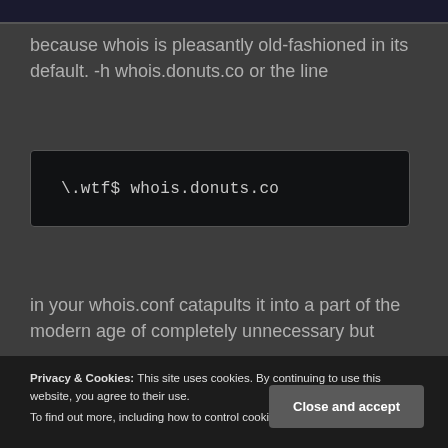[Figure (screenshot): Top dark image bar cropped from previous content]
because whois is pleasantly old-fashioned in its default. -h whois.donuts.co or the line
\.wtf$ whois.donuts.co
in your whois.conf catapults it into a part of the modern age of completely unnecessary but
Privacy & Cookies: This site uses cookies. By continuing to use this website, you agree to their use.
To find out more, including how to control cookies, see here: Cookie Policy
Close and accept